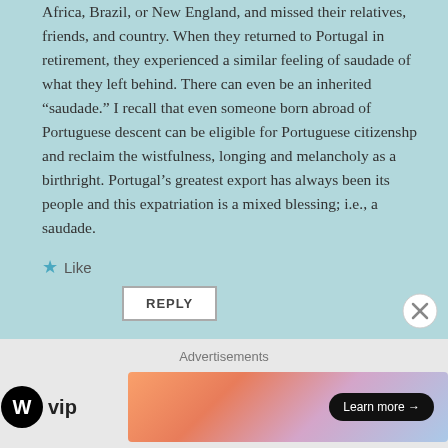Africa, Brazil, or New England, and missed their relatives, friends, and country. When they returned to Portugal in retirement, they experienced a similar feeling of saudade of what they left behind. There can even be an inherited “saudade.” I recall that even someone born abroad of Portuguese descent can be eligible for Portuguese citizenshp and reclaim the wistfulness, longing and melancholy as a birthright. Portugal’s greatest export has always been its people and this expatriation is a mixed blessing; i.e., a saudade.
Like
REPLY
Advertisements
[Figure (logo): WordPress VIP logo — WordPress icon (circle with W) next to text 'vip']
[Figure (infographic): Colorful gradient advertisement banner with a 'Learn more →' button on dark pill-shaped background]